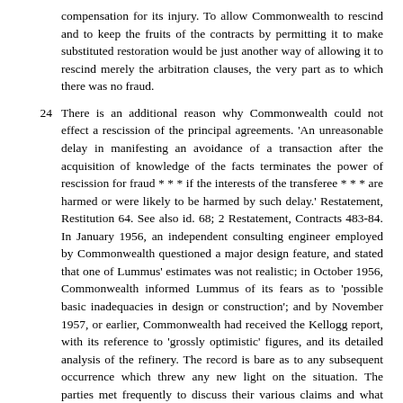compensation for its injury. To allow Commonwealth to rescind and to keep the fruits of the contracts by permitting it to make substituted restoration would be just another way of allowing it to rescind merely the arbitration clauses, the very part as to which there was no fraud.
24 There is an additional reason why Commonwealth could not effect a rescission of the principal agreements. 'An unreasonable delay in manifesting an avoidance of a transaction after the acquisition of knowledge of the facts terminates the power of rescission for fraud * * * if the interests of the transferee * * * are harmed or were likely to be harmed by such delay.' Restatement, Restitution 64. See also id. 68; 2 Restatement, Contracts 483-84. In January 1956, an independent consulting engineer employed by Commonwealth questioned a major design feature, and stated that one of Lummus' estimates was not realistic; in October 1956, Commonwealth informed Lummus of its fears as to 'possible basic inadequacies in design or construction'; and by November 1957, or earlier, Commonwealth had received the Kellogg report, with its reference to 'grossly optimistic' figures, and its detailed analysis of the refinery. The record is bare as to any subsequent occurrence which threw any new light on the situation. The parties met frequently to discuss their various claims and what should be done. Not, however, until after Lummus had demanded arbitration in April 1959, did